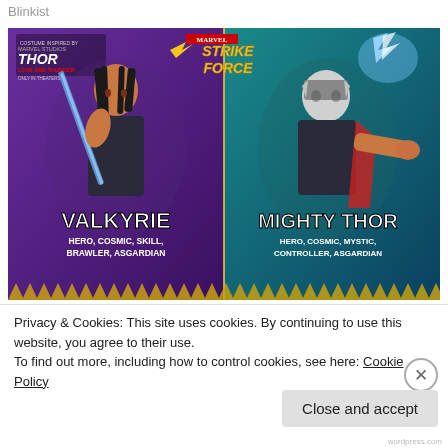Blinkist
[Figure (illustration): Marvel Strike Force promotional image showing two characters: Valkyrie (Hero, Cosmic, Skill, Brawler, Asgardian) on the left holding a sword, and Mighty Thor (Hero, Cosmic, Mystic, Controller, Asgardian) on the right wielding a hammer with lightning. The Thor: Love and Thunder movie logo and Marvel Strike Force logo appear at the top. The image has a purple and teal atmospheric background with golden spikes at the bottom.]
Privacy & Cookies: This site uses cookies. By continuing to use this website, you agree to their use.
To find out more, including how to control cookies, see here: Cookie Policy
Close and accept